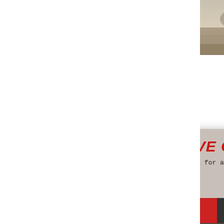[Figure (photo): Aerial view of a quarry/mining site with heavy equipment and sandy terrain]
Small portable concrete crusher ...
casting 200 portable mining crusher PE150 250 ...
PE150 250 mini diesel ...
1500 250 30 compact crusher of 250 kg, potential of
Oil  Gas
Feeding060
Mining  »
[Figure (screenshot): Live Chat popup overlay with woman in hard hat and colleagues in background, Chat now and Chat later buttons]
[Figure (photo): Mobile crushing/screening plant at a quarry site]
[Figure (photo): Blue panel showing jaw crusher machine with Click me to chat button, Enquiry and mumumugoods text]